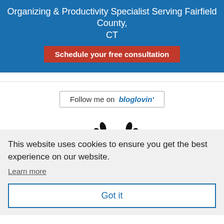Organizing & Productivity Specialist Serving Fairfield County, CT
Schedule your free consultation
[Figure (screenshot): Search box area below blue header bar]
Follow me on bloglovin'
[Figure (illustration): Best badge with laurel wreath and the word BEST]
This website uses cookies to ensure you get the best experience on our website.
Learn more
Got it
[Figure (illustration): Gold badge partially visible at the bottom]